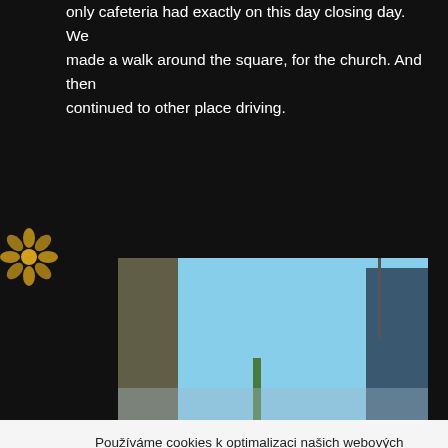only cafeteria had exactly on this day closing day. We made a walk around the square, for the church. And then continued to other place driving.
[Figure (photo): Partial photo showing sky and building tops, cut off by cookie consent overlay]
Používáme cookies k optimalizaci našich webových stránek a našich služeb
Přijmout
Odmítnout
Předvolby
Privacy policy   Privacy policy